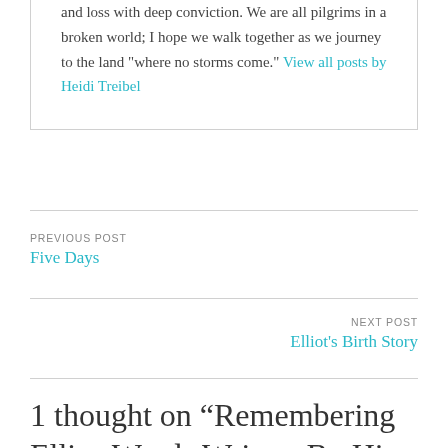and loss with deep conviction. We are all pilgrims in a broken world; I hope we walk together as we journey to the land "where no storms come." View all posts by Heidi Treibel
PREVIOUS POST
Five Days
NEXT POST
Elliot's Birth Story
1 thought on “Remembering Elliot-Words Written By His